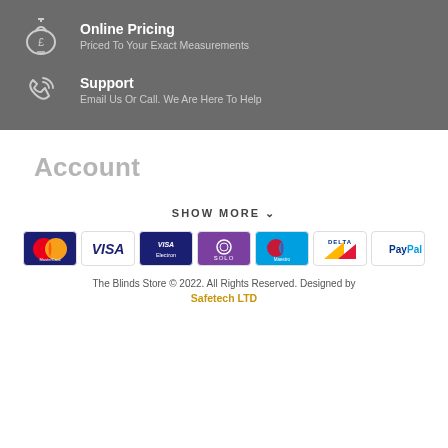[Figure (illustration): Money bag icon with pound sign]
Online Pricing
Priced To Your Exact Measurements
[Figure (illustration): Phone/support icon]
Support
Email Us Or Call. We Are Here To Help
Account
SHOW MORE
[Figure (infographic): Payment method logos: MasterCard, Visa, Visa Electron, Solo, Maestro, Delta, PayPal]
The Blinds Store © 2022. All Rights Reserved. Designed by Safetech LTD